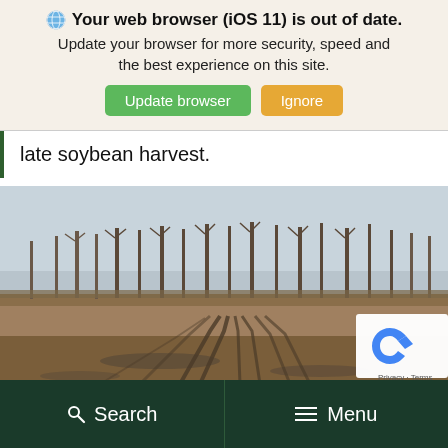🌐 Your web browser (iOS 11) is out of date. Update your browser for more security, speed and the best experience on this site. Update browser  Ignore
late soybean harvest.
[Figure (photo): A harvested field with rows of tire tracks in muddy/dry soil, bare leafless trees in the background, overcast sky. Appears to be a late autumn agricultural field after soybean harvest.]
Search  Menu